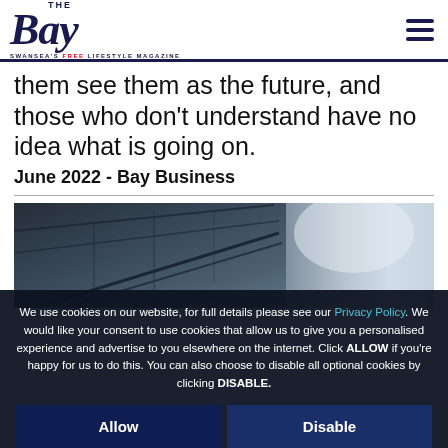THE Bay — SWANSEA'S FREE LIFESTYLE MAGAZINE
them see them as the future, and those who don't understand have no idea what is going on.
June 2022 - Bay Business
[Figure (photo): Photograph showing underside of a structure (possibly a bridge or stadium roof) with metal framework against a bright sky]
We use cookies on our website, for full details please see our Privacy Policy. We would like your consent to use cookies that allow us to give you a personalised experience and advertise to you elsewhere on the internet. Click ALLOW if you're happy for us to do this. You can also choose to disable all optional cookies by clicking DISABLE.
Allow
Disable